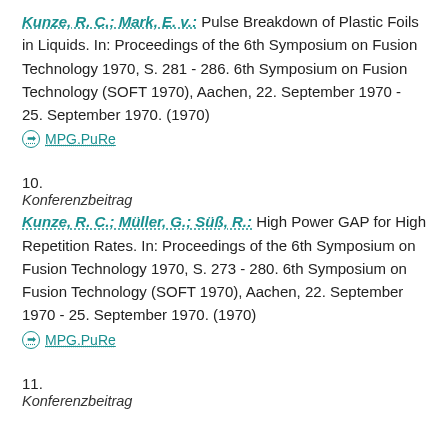Kunze, R. C.; Mark, E. v.: Pulse Breakdown of Plastic Foils in Liquids. In: Proceedings of the 6th Symposium on Fusion Technology 1970, S. 281 - 286. 6th Symposium on Fusion Technology (SOFT 1970), Aachen, 22. September 1970 - 25. September 1970. (1970)
MPG.PuRe
10.
Konferenzbeitrag
Kunze, R. C.; Müller, G.; Süß, R.: High Power GAP for High Repetition Rates. In: Proceedings of the 6th Symposium on Fusion Technology 1970, S. 273 - 280. 6th Symposium on Fusion Technology (SOFT 1970), Aachen, 22. September 1970 - 25. September 1970. (1970)
MPG.PuRe
11.
Konferenzbeitrag